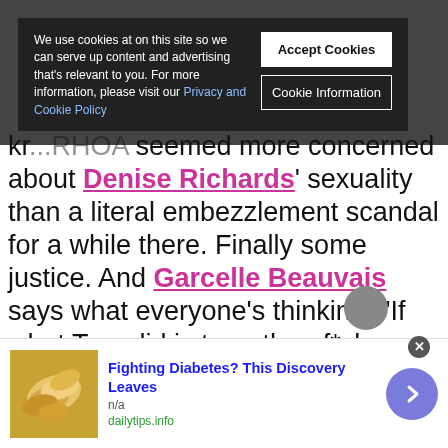[Figure (screenshot): Cookie consent banner overlay on a webpage with dark semi-transparent background, showing cookie policy text on left and Accept Cookies / Cookie Information buttons on right]
kr...RHOA seemed more concerned about Denise Richards' sexuality than a literal embezzlement scandal for a while there. Finally some justice. And Garcelle Beauvais says what everyone's thinking, "If what Tom did is true, then f*ck Tom." YES YES YES.
[Figure (photo): Advertisement banner showing cashews/nuts image on left, text 'Fighting Diabetes? This Discovery Leaves' with source n/a and dailytips.info, and a purple arrow button on right]